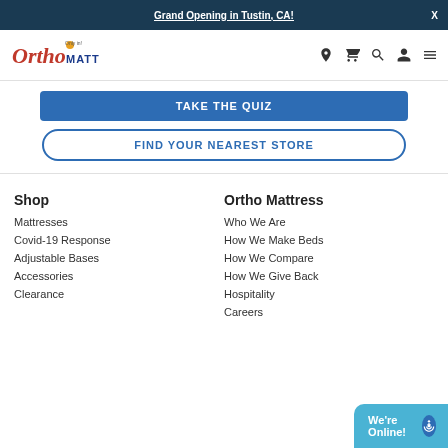Grand Opening in Tustin, CA! X
[Figure (logo): Ortho Mattress logo with cartoon character]
TAKE THE QUIZ
FIND YOUR NEAREST STORE
Shop
Mattresses
Covid-19 Response
Adjustable Bases
Accessories
Clearance
Ortho Mattress
Who We Are
How We Make Beds
How We Compare
How We Give Back
Hospitality
Careers
We're Online!